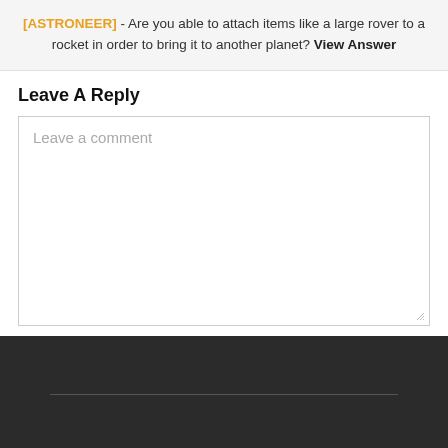[ASTRONEER] - Are you able to attach items like a large rover to a rocket in order to bring it to another planet? View Answer
Leave A Reply
Leave a comment
[Figure (screenshot): Dark footer bar with a horizontal divider line]
[Figure (logo): Nerd Burglars logo in white on light gray background]